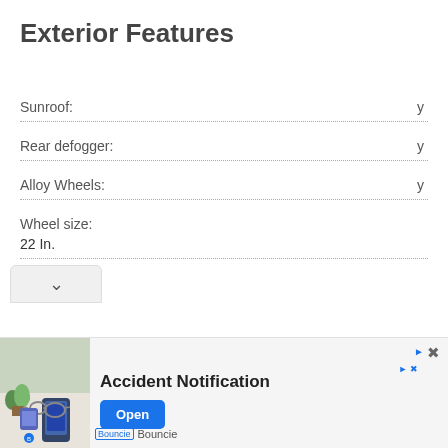Exterior Features
Sunroof: y
Rear defogger: y
Alloy Wheels: y
Wheel size:
22 In.
[Figure (other): Advertisement banner for Bouncie Accident Notification app with Open button]
Bouncie — Accident Notification